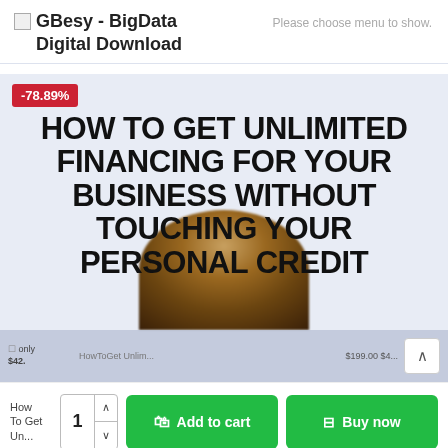[Figure (logo): GBesy - BigData Digital Download logo with small image icon]
Please choose menu to show.
-78.89%
[Figure (photo): Book cover: HOW TO GET UNLIMITED FINANCING FOR YOUR BUSINESS WITHOUT TOUCHING YOUR PERSONAL CREDIT, with a person's head visible at the bottom. Thumbnail strip at bottom shows small previews and a scroll-up button.]
How To Get 1
Add to cart
Buy now